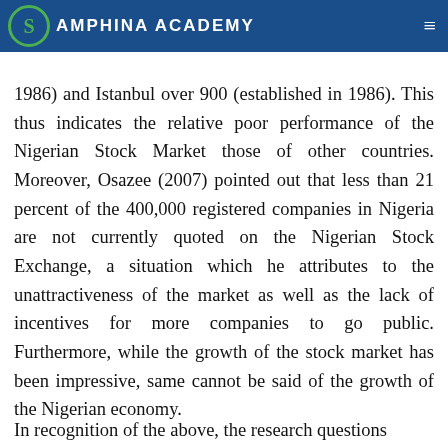SAMPHINA ACADEMY
1986) and Istanbul over 900 (established in 1986). This thus indicates the relative poor performance of the Nigerian Stock Market those of other countries. Moreover, Osazee (2007) pointed out that less than 21 percent of the 400,000 registered companies in Nigeria are not currently quoted on the Nigerian Stock Exchange, a situation which he attributes to the unattractiveness of the market as well as the lack of incentives for more companies to go public. Furthermore, while the growth of the stock market has been impressive, same cannot be said of the growth of the Nigerian economy.
In recognition of the above, the research questions